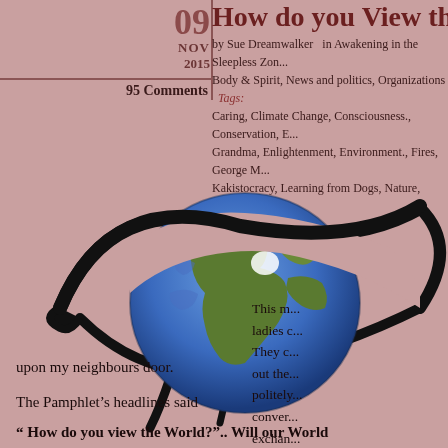How do you View the Future
by Sue Dreamwalker   in Awakening in the Sleepless Zone, Body & Spirit, News and politics, Organizations   Tags: Caring, Climate Change, Consciousness., Conservation, B... Grandma, Enlightenment, Environment., Fires, George M... Kakistocracy, Learning from Dogs, Nature, Pollution, Th... Unity, world
95 Comments
[Figure (illustration): An illustrated eye with a globe of Earth as the iris, set against a pink background. The eye has stylized black eyelashes and outline. The globe shows continents including Africa, Europe, and the Middle East with blue oceans.]
This m... ladies c... They c... out the... politely... conver... exchan... world a... prayer. and the...
upon my neighbours door.
The Pamphlet's headlines said
“ How do you view the World?”.. Will our World